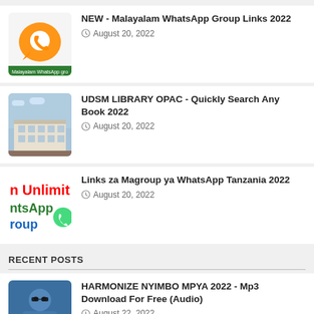[Figure (screenshot): WhatsApp logo with orange speech bubble and phone icon, text 'Malayalam WhatsApp gro' at bottom]
NEW - Malayalam WhatsApp Group Links 2022
August 20, 2022
[Figure (photo): Library building exterior with white facade and blue sky]
UDSM LIBRARY OPAC - Quickly Search Any Book 2022
August 20, 2022
[Figure (screenshot): Tanzania WhatsApp group image with colorful text: n Unlimit, ntsApp, roup]
Links za Magroup ya WhatsApp Tanzania 2022
August 20, 2022
RECENT POSTS
[Figure (photo): Harmonize music artist photo with text HARMONIZE NYIMBO MPYA]
HARMONIZE NYIMBO MPYA 2022 - Mp3 Download For Free (Audio)
August 22, 2022